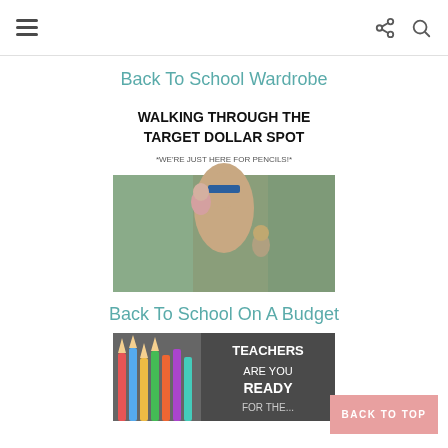Navigation bar with hamburger menu, share icon, and search icon
Back To School Wardrobe
[Figure (illustration): Blog post image with text 'WALKING THROUGH THE TARGET DOLLAR SPOT' and subtitle '*WE'RE JUST HERE FOR PENCILS!' with a photo of a blindfolded woman carrying children]
Back To School On A Budget
[Figure (photo): Partially visible image showing colorful pencils and text 'TEACHERS ARE YOU READY FOR THE...' on a dark background]
BACK TO TOP